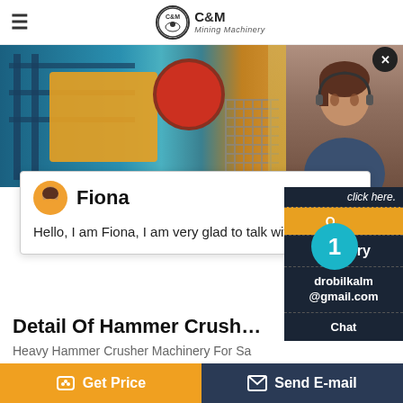C&M Mining Machinery
[Figure (photo): Mining machinery / jaw crusher equipment at an outdoor site, with blue steel framework and orange/yellow machinery components visible, desert/sandy background]
Fiona
Hello, I am Fiona, I am very glad to talk with you!
Detail Of Hammer Crusher To Crus...
Heavy Hammer Crusher Machinery For Sa...
Mobile Crushing Plant Whether you39re lo...
Get Price
Send E-mail